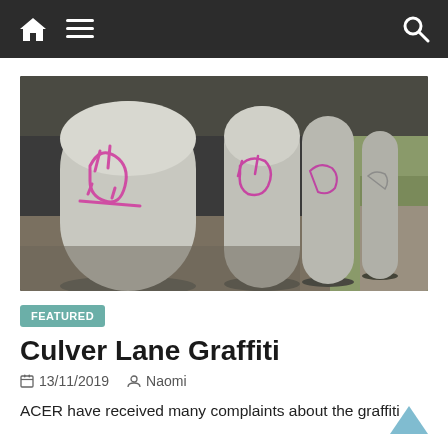Navigation bar with home icon, menu icon, and search icon
[Figure (photo): Photograph taken under a bridge or overpass showing multiple concrete pillars/columns with pink/magenta graffiti tags on them. The area is dimly lit with sandy ground and some vegetation visible in the background on the right.]
FEATURED
Culver Lane Graffiti
13/11/2019   Naomi
ACER have received many complaints about the graffiti